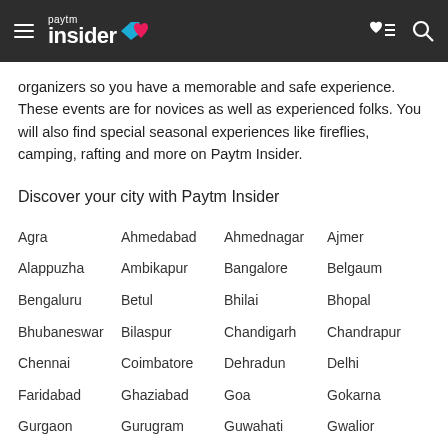Paytm Insider
organizers so you have a memorable and safe experience. These events are for novices as well as experienced folks. You will also find special seasonal experiences like fireflies, camping, rafting and more on Paytm Insider.
Discover your city with Paytm Insider
Agra
Ahmedabad
Ahmednagar
Ajmer
Alappuzha
Ambikapur
Bangalore
Belgaum
Bengaluru
Betul
Bhilai
Bhopal
Bhubaneswar
Bilaspur
Chandigarh
Chandrapur
Chennai
Coimbatore
Dehradun
Delhi
Faridabad
Ghaziabad
Goa
Gokarna
Gurgaon
Gurugram
Guwahati
Gwalior
Hisar
Hosur
Howrah
Hyderabad
Igatpuri
Indore
Jabalpur
Jaipur
Jalandhar
Jammu
Jodhpur
Junagadh
Kanpur
Karjat
Kochi
Kolkata